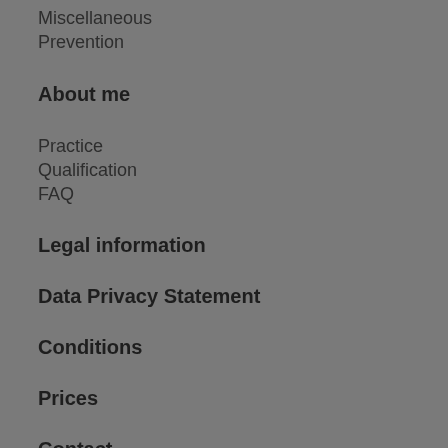Miscellaneous
Prevention
About me
Practice
Qualification
FAQ
Legal information
Data Privacy Statement
Conditions
Prices
Contact
Making an appointment
Directions